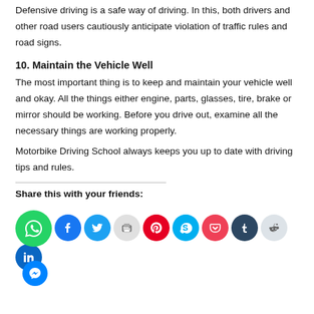Defensive driving is a safe way of driving. In this, both drivers and other road users cautiously anticipate violation of traffic rules and road signs.
10. Maintain the Vehicle Well
The most important thing is to keep and maintain your vehicle well and okay. All the things either engine, parts, glasses, tire, brake or mirror should be working. Before you drive out, examine all the necessary things are working properly.
Motorbike Driving School always keeps you up to date with driving tips and rules.
Share this with your friends:
[Figure (infographic): Social media share buttons: WhatsApp, Facebook, Twitter, Print, Pinterest, Skype, Pocket, Tumblr, Reddit, LinkedIn]